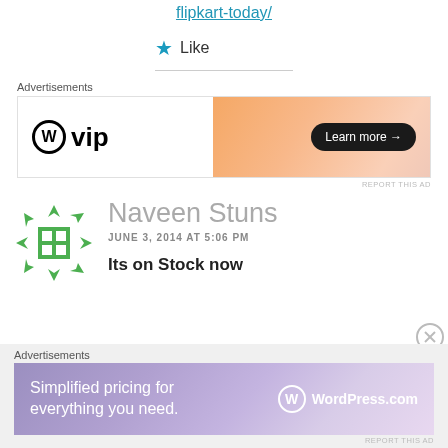flipkart-today/
★ Like
Advertisements
[Figure (other): WordPress VIP advertisement banner with gradient orange background and 'Learn more →' button]
REPORT THIS AD
Naveen Stuns
JUNE 3, 2014 AT 5:06 PM
Its on Stock now
Advertisements
[Figure (other): WordPress.com advertisement banner with purple/blue gradient and text 'Simplified pricing for everything you need.']
REPORT THIS AD